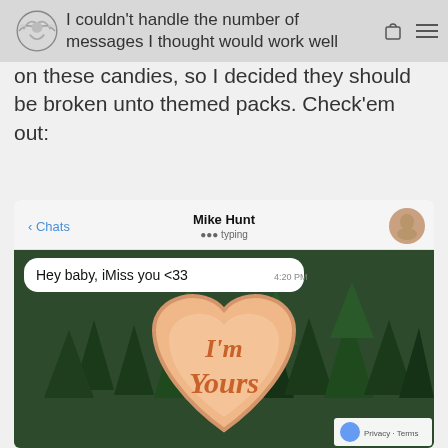I couldn't handle the number of messages I thought would work well on these candies, so I decided they should be broken unto themed packs. Check'em out:
I couldn't handle the number of messages I thought would work well on these candies, so I decided they should be broken unto themed packs. Check'em out:
[Figure (screenshot): Screenshot of an iMessage chat with Mike Hunt (typing) showing a message 'Hey baby, iMiss you <33 4:20 PM' over a forest background with a heart-shaped candy saying 'I'm Yours']